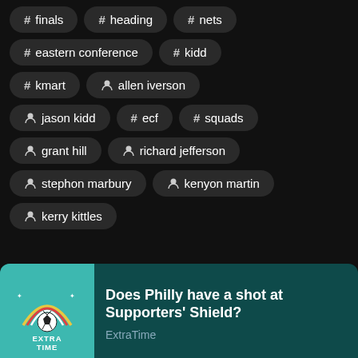# finals
# heading
# nets
# eastern conference
# kidd
# kmart
person allen iverson
person jason kidd
# ecf
# squads
person grant hill
person richard jefferson
person stephon marbury
person kenyon martin
person kerry kittles
[Figure (logo): Extra Time podcast logo on teal background with soccer ball graphic]
Does Philly have a shot at Supporters' Shield?
ExtraTime